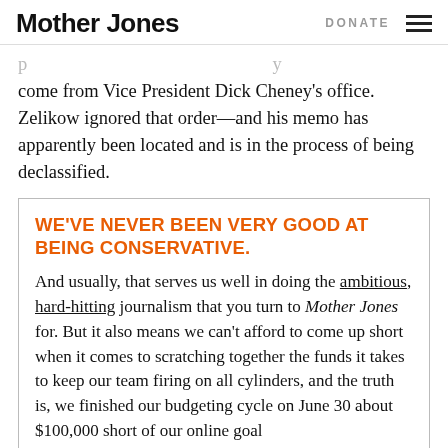Mother Jones | DONATE
come from Vice President Dick Cheney's office. Zelikow ignored that order—and his memo has apparently been located and is in the process of being declassified.
WE'VE NEVER BEEN VERY GOOD AT BEING CONSERVATIVE.
And usually, that serves us well in doing the ambitious, hard-hitting journalism that you turn to Mother Jones for. But it also means we can't afford to come up short when it comes to scratching together the funds it takes to keep our team firing on all cylinders, and the truth is, we finished our budgeting cycle on June 30 about $100,000 short of our online goal